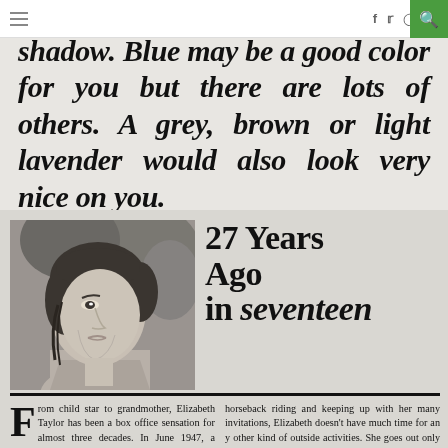Navigation bar with hamburger menu, social icons (f, Twitter, Instagram, RSS), and search button
shadow. Blue may be a good color for you but there are lots of others. A grey, brown or light lavender would also look very nice on you.
[Figure (photo): Black and white portrait photograph of a young woman (Elizabeth Taylor) in profile, looking upward to the left, with dark wavy hair]
27 Years Ago in seventeen
From child star to grandmother, Elizabeth Taylor has been a box office sensation for almost three decades. In June 1947, a studio schoolmate, singer Jane Powell, interviewed the then fifteen-
horseback riding and keeping up with her many invitations, Elizabeth doesn't have much time for any other kind of outside activities. She goes out only one night a week—either Friday or Saturday, because